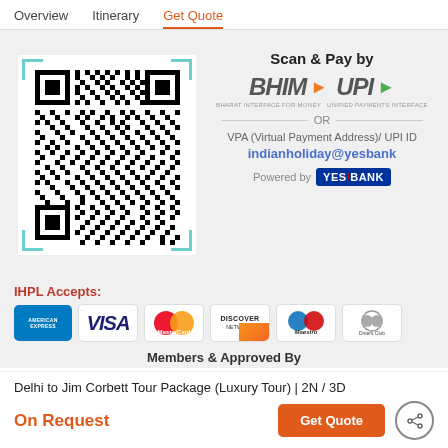Overview | Itinerary | Get Quote
[Figure (other): QR code for BHIM UPI payment by indianholiday@yesbank, with scan frame corners]
Scan & Pay by BHIM UPI
OR
VPA (Virtual Payment Address)/ UPI ID
indianholiday@yesbank
Powered by YES BANK
IHPL Accepts:
[Figure (other): Payment card logos: American Express, VISA, MasterCard, Discover Network, Maestro, Diners Club]
Members & Approved By
Delhi to Jim Corbett Tour Package (Luxury Tour) | 2N / 3D
On Request
Get Quote